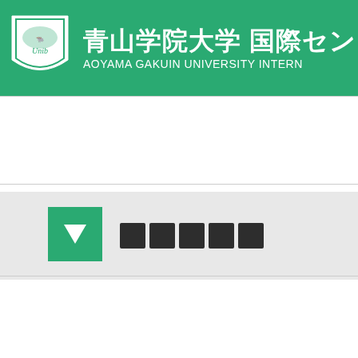[Figure (logo): Aoyama Gakuin University International Center header with green background, university shield logo, Japanese text 青山学院大学 国際センター and English text AOYAMA GAKUIN UNIVERSITY INTERNATIONAL CENTER]
[Figure (other): Gray section with green box arrow and black rectangular blocks (navigation element)]
[Figure (other): Gray section with green chevron/arrow and dark blocks with question marks]
The Salt of the Ea
[Figure (other): Small dark blocks with question marks at bottom right]